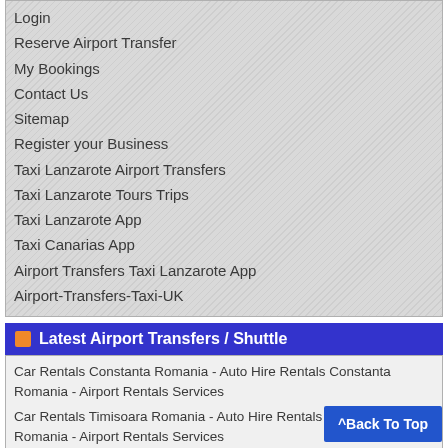Login
Reserve Airport Transfer
My Bookings
Contact Us
Sitemap
Register your Business
Taxi Lanzarote Airport Transfers
Taxi Lanzarote Tours Trips
Taxi Lanzarote App
Taxi Canarias App
Airport Transfers Taxi Lanzarote App
Airport-Transfers-Taxi-UK
Latest Airport Transfers / Shuttle
Car Rentals Constanta Romania - Auto Hire Rentals Constanta Romania - Airport Rentals Services
Car Rentals Timisoara Romania - Auto Hire Rentals Timisoara Romania - Airport Rentals Services
Car Rentals Stefanesti Arges Romania - Auto Hire Rentals Stefanesti Arges Romania - Airport Rentals Services
Car Rentals Bascov Arges Romania - Auto Hire Rentals Bascov Arges Romania - Airport Rentals Services
Car Rentals Arges Romania - Auto Hire Rentals Arges Romania - Airport Rentals Services
Limousine Services Bascov Arges Romania - Lux Services Bascov Arges Romania